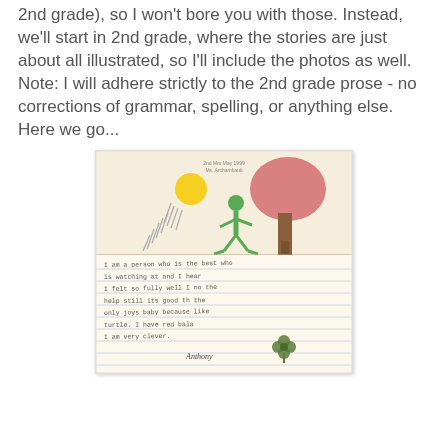2nd grade), so I won't bore you with those. Instead, we'll start in 2nd grade, where the stories are just about all illustrated, so I'll include the photos as well. Note: I will adhere strictly to the 2nd grade prose - no corrections of grammar, spelling, or anything else. Here we go...
[Figure (photo): A child's handwritten and illustrated story page from 2nd grade. The top half shows a crayon drawing of a green stick figure walking, a yellow sun with rain lines, and a pink/red tree with a brown trunk on lined paper. The bottom half contains handwritten text in pencil on lined paper, signed 'Anthony' with a small clover/flower sticker.]